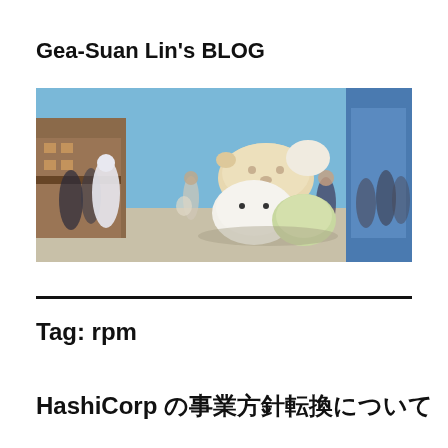Gea-Suan Lin's BLOG
[Figure (photo): Outdoor scene with large cute stuffed animal figures (Sumikko Gurashi plush toys) stacked on a street, with blurred crowd and buildings in the background on a sunny day.]
Tag: rpm
HashiCorp の事業方針転換について